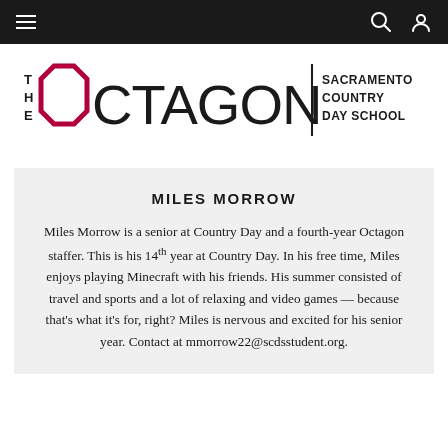navigation bar with hamburger menu, search icon, and user icon
[Figure (logo): The Octagon | Sacramento Country Day School logo with red octagon shape and bold black text]
MILES MORROW
Miles Morrow is a senior at Country Day and a fourth-year Octagon staffer. This is his 14th year at Country Day. In his free time, Miles enjoys playing Minecraft with his friends. His summer consisted of travel and sports and a lot of relaxing and video games — because that's what it's for, right? Miles is nervous and excited for his senior year. Contact at mmorrow22@scdsstudent.org.